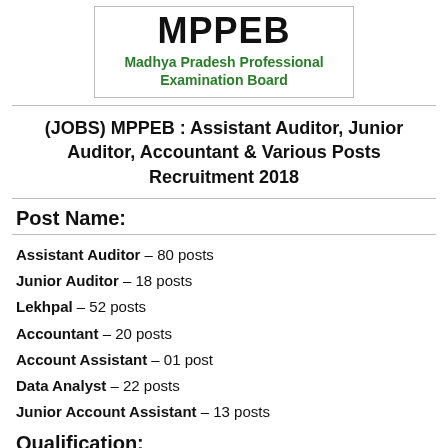[Figure (logo): MPPEB logo with text: MPPEB, Madhya Pradesh Professional Examination Board]
(JOBS) MPPEB : Assistant Auditor, Junior Auditor, Accountant & Various Posts Recruitment 2018
Post Name:
Assistant Auditor – 80 posts
Junior Auditor – 18 posts
Lekhpal – 52 posts
Accountant – 20 posts
Account Assistant – 01 post
Data Analyst – 22 posts
Junior Account Assistant – 13 posts
Qualification: